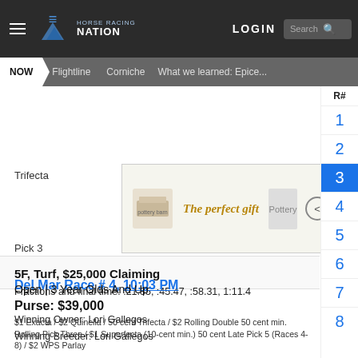Horse Racing Nation | LOGIN | Search | NOW | Flightline | Corniche | What we learned: Epice...
[Figure (screenshot): Advertisement banner: 'The perfect gift' with bowl image, navigation arrows, and 35% OFF + FREE SHIPPING offer in gold]
Fractions and final time: :21.85, :45.47, :58.31, 1:11.4
Winning Owner: Lori Gallegos
Winning Breeder: Lori Gallegos
Del Mar Race # 4, 10:03 PM
5F, Turf, $25,000 Claiming
Open | 3 Year Olds And Up
Purse: $39,000
$1 Exacta / $2 Quinella / 50 cent Trifecta / $2 Rolling Double 50 cent min. Rolling Pick Three / $1 Superfecta (10-cent min.) 50 cent Late Pick 5 (Races 4-8) / $2 WPS Parlay